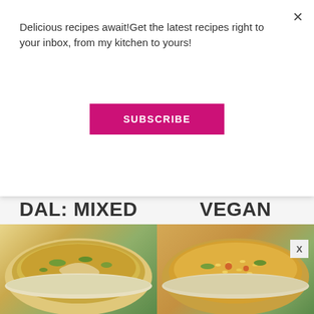Delicious recipes await!Get the latest recipes right to your inbox, from my kitchen to yours!
SUBSCRIBE
×
DAL: MIXED DAL
VEGAN INDIAN-
[Figure (photo): Bowl of mixed dal soup with green herbs garnish]
[Figure (photo): Bowl of vegan Indian biryani rice with herbs]
X